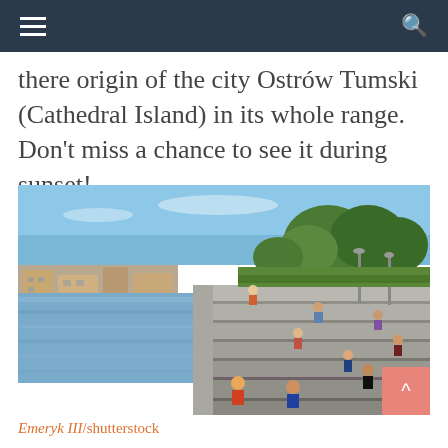≡  🔍
there origin of the city Ostrów Tumski (Cathedral Island) in its whole range. Don't miss a chance to see it during sunset!
[Figure (photo): Outdoor photograph of people relaxing on stepped concrete terraces beside a river on a sunny day. Green trees visible in the background on the right, urban buildings on the left across the water.]
Emeryk III/shutterstock